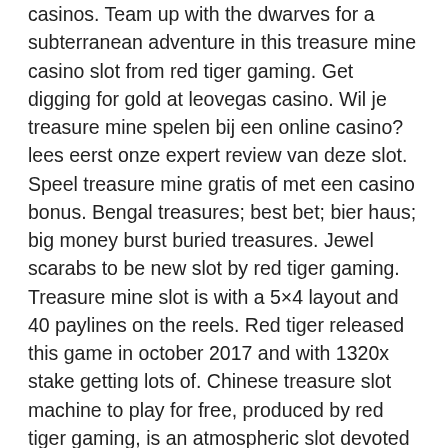casinos. Team up with the dwarves for a subterranean adventure in this treasure mine casino slot from red tiger gaming. Get digging for gold at leovegas casino. Wil je treasure mine spelen bij een online casino? lees eerst onze expert review van deze slot. Speel treasure mine gratis of met een casino bonus. Bengal treasures; best bet; bier haus; big money burst buried treasures. Jewel scarabs to be new slot by red tiger gaming. Treasure mine slot is with a 5×4 layout and 40 paylines on the reels. Red tiger released this game in october 2017 and with 1320x stake getting lots of. Chinese treasure slot machine to play for free, produced by red tiger gaming, is an atmospheric slot devoted to the subject of ancient chinese culture And you can buy, sell, and trade your cards freely on the large P2P market, tiger treasure casino slots.